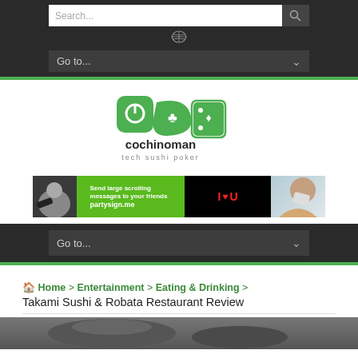Search... [search button] [RSS icon] Go to...
[Figure (logo): cochinoman logo with power button, clover, and playing card icons; tagline: tech sushi poker]
[Figure (photo): Banner advertisement for partysign.me showing people with phones and I Love U LED message]
Go to...
Home > Entertainment > Eating & Drinking > Takami Sushi & Robata Restaurant Review
[Figure (photo): Partial bottom strip showing food/restaurant image]